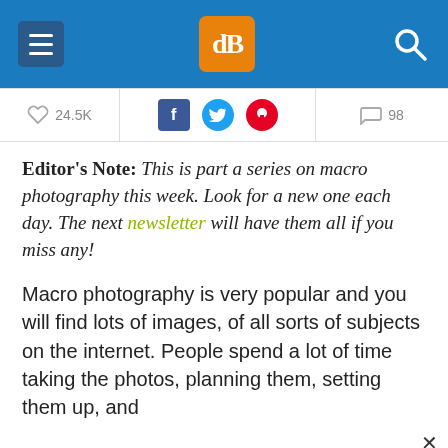dPS navigation bar with menu, logo, and search
[Figure (screenshot): Share bar showing 24.5K likes, Facebook, Twitter, Pinterest social icons, and 58 comments]
Editor's Note: This is part a series on macro photography this week. Look for a new one each day. The next newsletter will have them all if you miss any!
Macro photography is very popular and you will find lots of images, of all sorts of subjects on the internet. People spend a lot of time taking the photos, planning them, setting them up, and